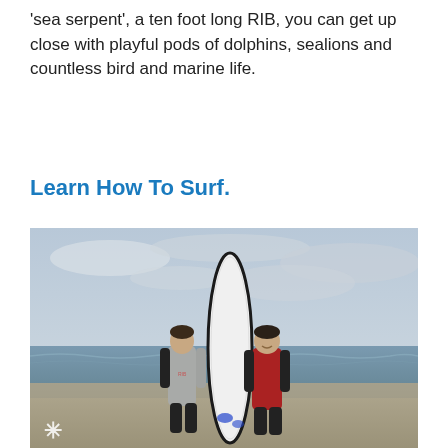'sea serpent', a ten foot long RIB, you can get up close with playful pods of dolphins, sealions and countless bird and marine life.
Learn How To Surf.
[Figure (photo): Two people in wetsuits standing on a beach holding a large white surfboard upright between them. Overcast sky and ocean waves visible in background. A small logo/watermark is visible in the bottom-left corner.]